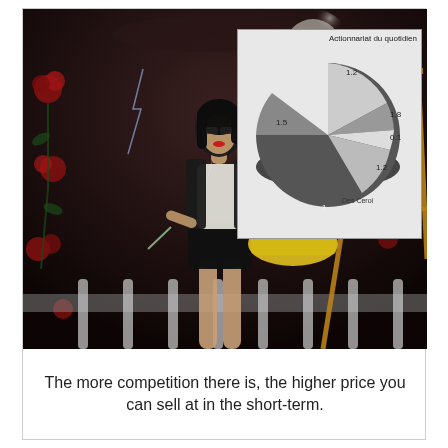[Figure (illustration): A dark fantasy illustration showing a stylized female figure with black hair, glasses, a black vest over white top and black mini skirt, standing on a balcony with red roses and lightning. An inset pie chart labeled 'Actionnariat du quotidien' with several slices (values 1.2, 0.1, 1.2, 1.5, 1, 1.8 visible) and label 'Des Ceroi' is overlaid on the right side. A wooden easel is visible in the background.]
The more competition there is, the higher price you can sell at in the short-term.